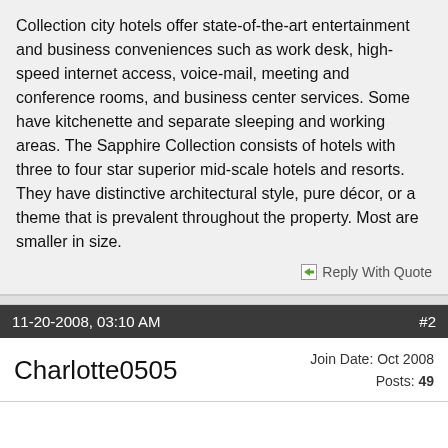Collection city hotels offer state-of-the-art entertainment and business conveniences such as work desk, high-speed internet access, voice-mail, meeting and conference rooms, and business center services. Some have kitchenette and separate sleeping and working areas. The Sapphire Collection consists of hotels with three to four star superior mid-scale hotels and resorts. They have distinctive architectural style, pure décor, or a theme that is prevalent throughout the property. Most are smaller in size.
Reply With Quote
11-20-2008, 03:10 AM    #2
Charlotte0505    Join Date: Oct 2008  Posts: 49
A typical houseboat floating down the backwaters near Alleppey in Kerala
Kerala [1] is a state in Southern India famous for its backwaters...